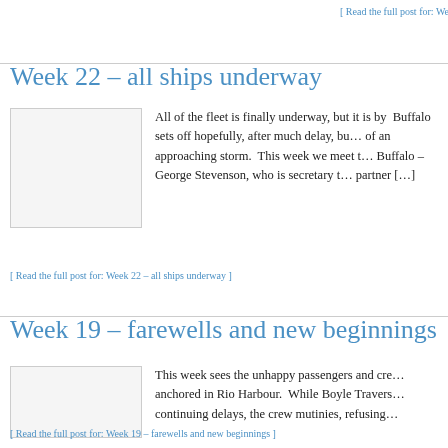[ Read the full post for: Week 25 – The demon drink ]
Week 22 – all ships underway
[Figure (photo): Blank placeholder image for Week 22 post]
All of the fleet is finally underway, but it is by… Buffalo sets off hopefully, after much delay, bu… of an approaching storm.  This week we meet t… Buffalo – George Stevenson, who is secretary t… partner […]
[ Read the full post for: Week 22 – all ships underway ]
Week 19 – farewells and new beginnings
[Figure (photo): Blank placeholder image for Week 19 post]
This week sees the unhappy passengers and cre… anchored in Rio Harbour.  While Boyle Travers… continuing delays, the crew mutinies, refusing…
[ Read the full post for: Week 19 – farewells and new beginnings ]